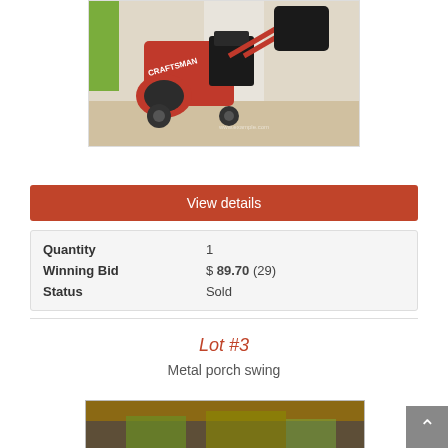[Figure (photo): Photo of a red Craftsman snowblower/tiller machine on a carpeted floor indoors]
View details
| Quantity | 1 |
| Winning Bid | $ 89.70 (29) |
| Status | Sold |
Lot #3
Metal porch swing
[Figure (photo): Partial photo of a metal porch swing]